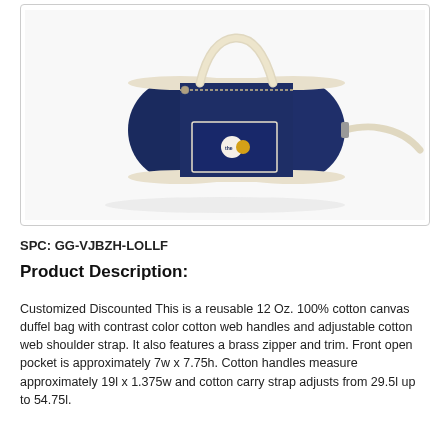[Figure (photo): A navy blue 12 oz. 100% cotton canvas duffel bag with cream/off-white contrast color cotton web handles and adjustable cotton web shoulder strap. The bag has a brass zipper and trim. A small circular logo is visible on the front pocket. The bag is shown at an angle on a white background.]
SPC: GG-VJBZH-LOLLF
Product Description:
Customized Discounted This is a reusable 12 Oz. 100% cotton canvas duffel bag with contrast color cotton web handles and adjustable cotton web shoulder strap. It also features a brass zipper and trim. Front open pocket is approximately 7w x 7.75h. Cotton handles measure approximately 19l x 1.375w and cotton carry strap adjusts from 29.5l up to 54.75l.